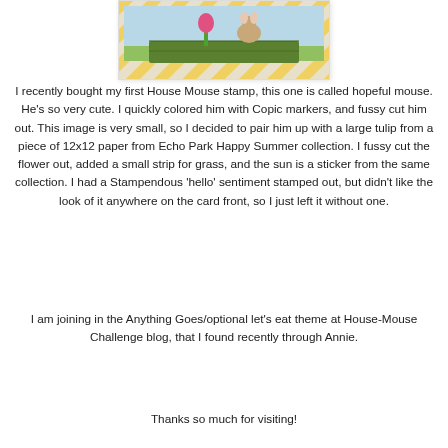[Figure (photo): Partial view of a crafted card featuring a yellow diagonal stripe background, green box element, and illustrated scene with mouse and tulip]
I recently bought my first House Mouse stamp, this one is called hopeful mouse. He's so very cute. I quickly colored him with Copic markers, and fussy cut him out. This image is very small, so I decided to pair him up with a large tulip from a piece of 12x12 paper from Echo Park Happy Summer collection. I fussy cut the flower out, added a small strip for grass, and the sun is a sticker from the same collection. I had a Stampendous 'hello' sentiment stamped out, but didn't like the look of it anywhere on the card front, so I just left it without one.
I am joining in the Anything Goes/optional let's eat theme at House-Mouse Challenge blog, that I found recently through Annie.
Thanks so much for visiting!